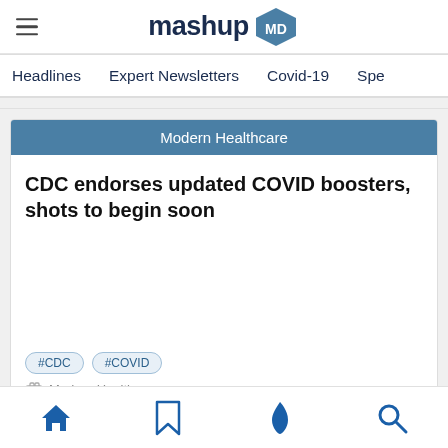mashup MD
Headlines   Expert Newsletters   Covid-19   Spe
Modern Healthcare
CDC endorses updated COVID boosters, shots to begin soon
#CDC   #COVID
Modern Healthcare
[home] [bookmark] [trending] [search]